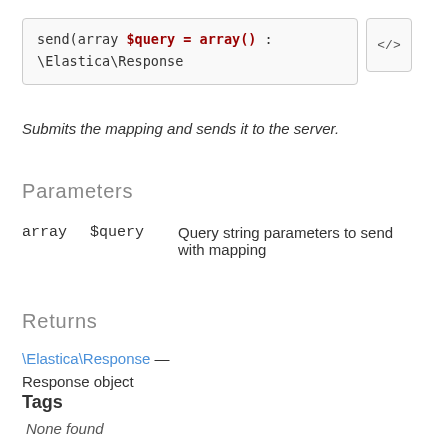send(array $query = array()) : \Elastica\Response
Submits the mapping and sends it to the server.
Parameters
| type | name | description |
| --- | --- | --- |
| array | $query | Query string parameters to send with mapping |
Returns
\Elastica\Response — Response object
Tags
None found